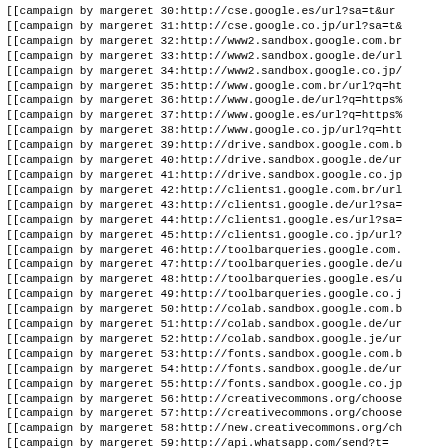[[campaign by margeret 30:http://cse.google.es/url?sa=t&ur
[[campaign by margeret 31:http://cse.google.co.jp/url?sa=t&
[[campaign by margeret 32:http://www2.sandbox.google.com.br
[[campaign by margeret 33:http://www2.sandbox.google.de/url
[[campaign by margeret 34:http://www2.sandbox.google.co.jp/
[[campaign by margeret 35:http://www.google.com.br/url?q=ht
[[campaign by margeret 36:http://www.google.de/url?q=https%
[[campaign by margeret 37:http://www.google.es/url?q=https%
[[campaign by margeret 38:http://www.google.co.jp/url?q=htt
[[campaign by margeret 39:http://drive.sandbox.google.com.b
[[campaign by margeret 40:http://drive.sandbox.google.de/ur
[[campaign by margeret 41:http://drive.sandbox.google.co.jp
[[campaign by margeret 42:http://clients1.google.com.br/url
[[campaign by margeret 43:http://clients1.google.de/url?sa=
[[campaign by margeret 44:http://clients1.google.es/url?sa=
[[campaign by margeret 45:http://clients1.google.co.jp/url?
[[campaign by margeret 46:http://toolbarqueries.google.com.
[[campaign by margeret 47:http://toolbarqueries.google.de/u
[[campaign by margeret 48:http://toolbarqueries.google.es/u
[[campaign by margeret 49:http://toolbarqueries.google.co.j
[[campaign by margeret 50:http://colab.sandbox.google.com.b
[[campaign by margeret 51:http://colab.sandbox.google.de/ur
[[campaign by margeret 52:http://colab.sandbox.google.je/ur
[[campaign by margeret 53:http://fonts.sandbox.google.com.b
[[campaign by margeret 54:http://fonts.sandbox.google.de/ur
[[campaign by margeret 55:http://fonts.sandbox.google.co.jp
[[campaign by margeret 56:http://creativecommons.org/choose
[[campaign by margeret 57:http://creativecommons.org/choose
[[campaign by margeret 58:http://new.creativecommons.org/ch
[[campaign by margeret 59:http://api.whatsapp.com/send?t=